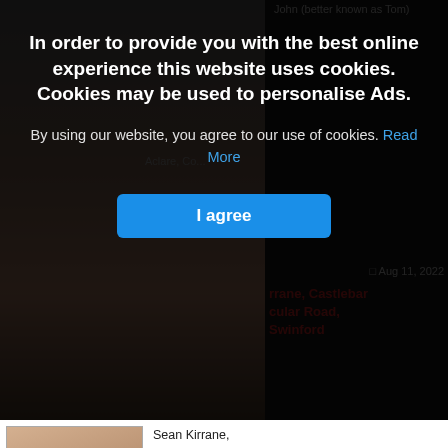[Figure (screenshot): Cookie consent overlay on a website showing obituaries. The overlay has a dark semi-transparent background with bold white text reading 'In order to provide you with the best online experience this website uses cookies. Cookies may be used to personalise Ads.' followed by smaller text 'By using our website, you agree to our use of cookies. Read More' and a blue 'I agree' button.]
Sean Kirrane,
Castlebar and Circular Road, Swinford.
Predeceased by his sister…
Aug 11, 2022
Maeve Blehein nee Kelly, Carn, Moygownagh, Ballina, Co. Mayo and formerly of Palmerstown, Killala
Maeve Blehein nee Kelly